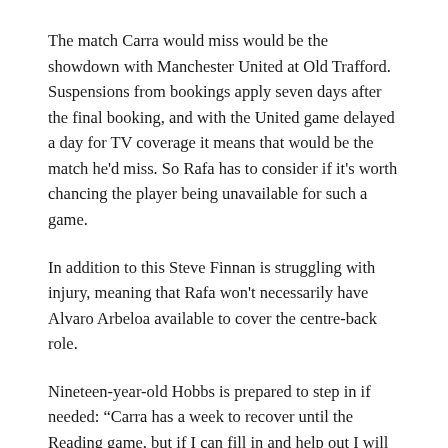The match Carra would miss would be the showdown with Manchester United at Old Trafford. Suspensions from bookings apply seven days after the final booking, and with the United game delayed a day for TV coverage it means that would be the match he'd miss. So Rafa has to consider if it's worth chancing the player being unavailable for such a game.
In addition to this Steve Finnan is struggling with injury, meaning that Rafa won't necessarily have Alvaro Arbeloa available to cover the centre-back role.
Nineteen-year-old Hobbs is prepared to step in if needed: “Carra has a week to recover until the Reading game, but if I can fill in and help out I will do. I’d look forward to it and feel I am ready.”